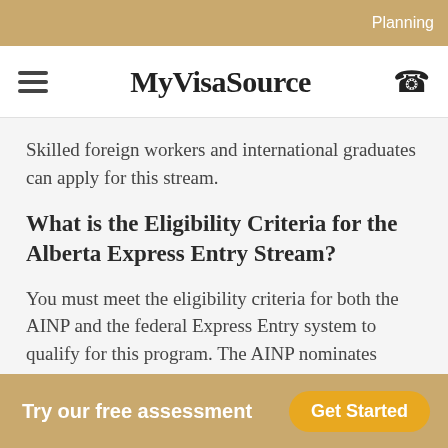Planning
MyVisaSource
Skilled foreign workers and international graduates can apply for this stream.
What is the Eligibility Criteria for the Alberta Express Entry Stream?
You must meet the eligibility criteria for both the AINP and the federal Express Entry system to qualify for this program. The AINP nominates candidates with a strong connection to the
Try our free assessment
Get Started